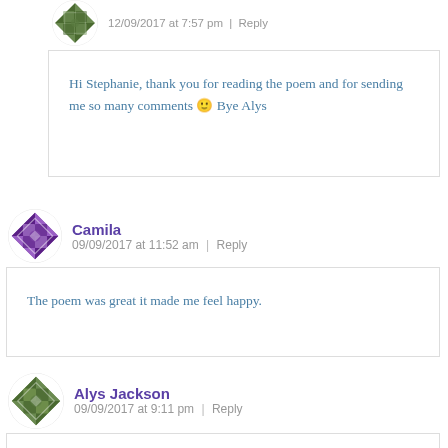12/09/2017 at 7:57 pm | Reply
Hi Stephanie, thank you for reading the poem and for sending me so many comments 🙂 Bye Alys
Camila
09/09/2017 at 11:52 am | Reply
The poem was great it made me feel happy.
Alys Jackson
09/09/2017 at 9:11 pm | Reply
Hi again Camila, thank you for your comment and